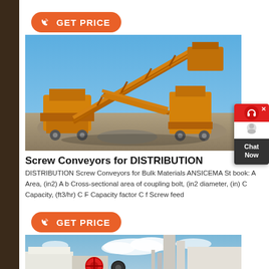[Figure (logo): GET PRICE button with phone icon, orange pill-shaped button]
[Figure (photo): Yellow industrial screw conveyor/crusher equipment on a construction site with blue sky background]
Screw Conveyors for DISTRIBUTION
DISTRIBUTION Screw Conveyors for Bulk Materials ANSICEMA St book: A Area, (in2) A b Cross-sectional area of coupling bolt, (in2 diameter, (in) C Capacity, (ft3/hr) C F Capacity factor C f Screw feed
[Figure (logo): GET PRICE button with phone icon, orange pill-shaped button]
[Figure (photo): Industrial crushing/screening equipment with blue sky and clouds background]